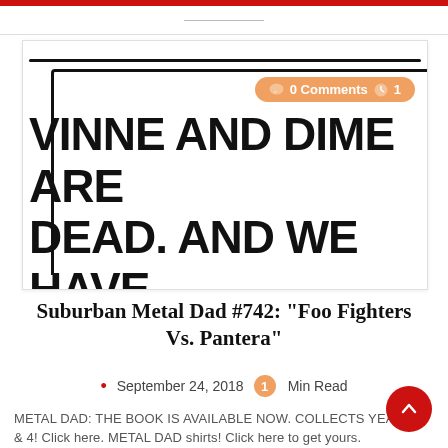[Figure (illustration): Comic strip panel showing hand-lettered text reading: VINNE AND DIME ARE DEAD. AND WE HAVE YEARS OF MUSIC BY, with 0 Comments and 1 Min Read badge overlaid]
Suburban Metal Dad #742: “Foo Fighters Vs. Pantera”
September 24, 2018  1 Min Read
METAL DAD: THE BOOK IS AVAILABLE NOW. COLLECTS YEARS 3 & 4! Click here. METAL DAD shirts! Click here to get yours.